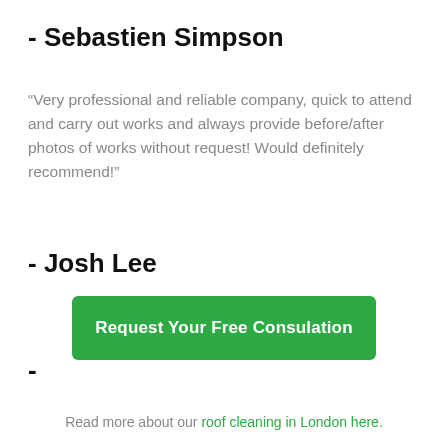- Sebastien Simpson
“Very professional and reliable company, quick to attend and carry out works and always provide before/after photos of works without request! Would definitely recommend!”
- Josh Lee
Request Your Free Consulation
-
Read more about our roof cleaning in London here.